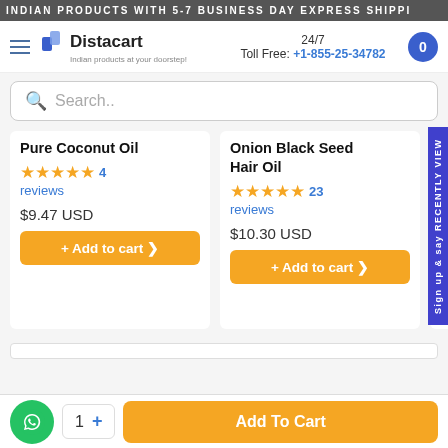INDIAN PRODUCTS WITH 5-7 BUSINESS DAY EXPRESS SHIPPING
[Figure (screenshot): Distacart logo with shopping cart icon and text 'Indian products at your doorstep!']
24/7 Toll Free: +1-855-25-34782
Search..
Pure Coconut Oil ★★★★★ 4 reviews $9.47 USD + Add to cart
Onion Black Seed Hair Oil ★★★★★ 23 reviews $10.30 USD + Add to cart
Amla Hair Oil ★★★★½ 1 review $11.97 USD + Add to cart
Sign up & say RECENTLY VIEWED
1   +   Add To Cart